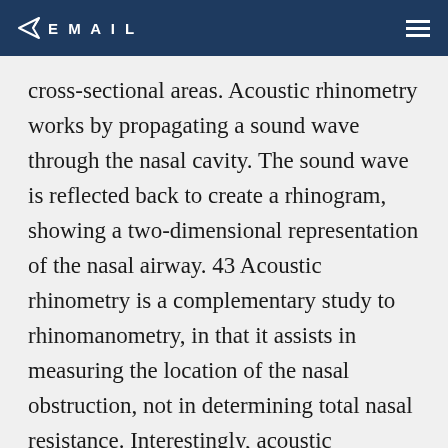EMAIL
cross-sectional areas. Acoustic rhinometry works by propagating a sound wave through the nasal cavity. The sound wave is reflected back to create a rhinogram, showing a two-dimensional representation of the nasal airway. 43 Acoustic rhinometry is a complementary study to rhinomanometry, in that it assists in measuring the location of the nasal obstruction, not in determining total nasal resistance. Interestingly, acoustic rhinometry has been deemed the most accurate measurement of nasal area, especially anterior in the nose and the region of the nasal valve. 44 Perhaps for this reason, acoustic rhinometry is the most utilized method of measuring nasal airway patency in both clinical and research settings. 15 Acoustic